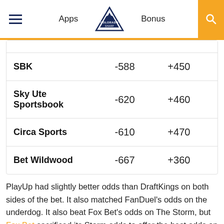Apps | Colorado Sharp | Bonus
|  |  |  |
| --- | --- | --- |
| SBK | -588 | +450 |
| Sky Ute Sportsbook | -620 | +460 |
| Circa Sports | -610 | +470 |
| Bet Wildwood | -667 | +360 |
PlayUp had slightly better odds than DraftKings on both sides of the bet. It also matched FanDuel's odds on the underdog. It also beat Fox Bet's odds on The Storm, but Fox Bet sacrificed its Storm odds to offer the best odds on The Dream.